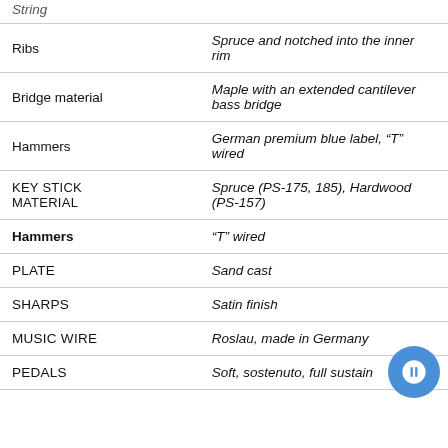| Feature | Description |
| --- | --- |
| String |  |
| Ribs | Spruce and notched into the inner rim |
| Bridge material | Maple with an extended cantilever bass bridge |
| Hammers | German premium blue label, "T" wired |
| KEY STICK MATERIAL | Spruce (PS-175, 185), Hardwood (PS-157) |
| Hammers | "T" wired |
| PLATE | Sand cast |
| SHARPS | Satin finish |
| MUSIC WIRE | Roslau, made in Germany |
| PEDALS | Soft, sostenuto, full sustain |